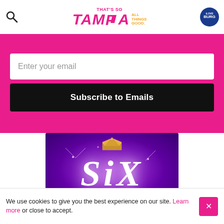That's So Tampa – All Things Good. iLoveBurg logo and search icon
Enter your email
Subscribe to Emails
[Figure (logo): SIX The Musical promotional banner on purple gradient background with crown above the letter I in SIX, pink subtitle THE MUSICAL]
We use cookies to give you the best experience on our site. Learn more or close to accept.